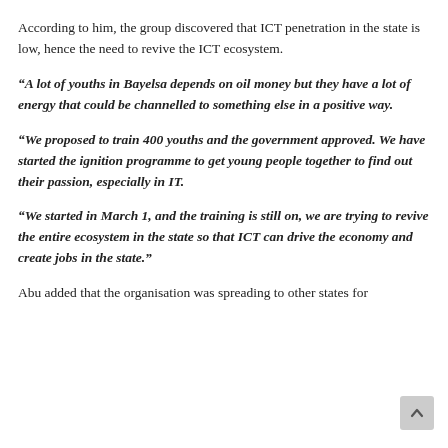According to him, the group discovered that ICT penetration in the state is low, hence the need to revive the ICT ecosystem.
“A lot of youths in Bayelsa depends on oil money but they have a lot of energy that could be channelled to something else in a positive way.
“We proposed to train 400 youths and the government approved. We have started the ignition programme to get young people together to find out their passion, especially in IT.
“We started in March 1, and the training is still on, we are trying to revive the entire ecosystem in the state so that ICT can drive the economy and create jobs in the state.”
Abu added that the organisation was spreading to other states for